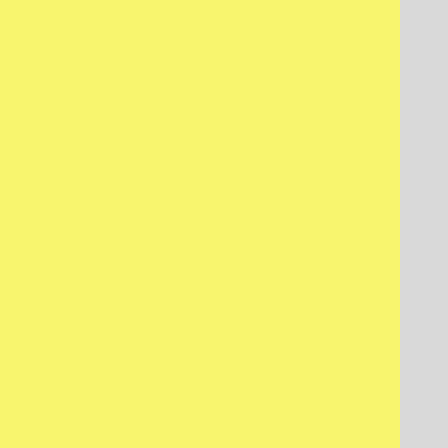The 100% Objective Review is basi